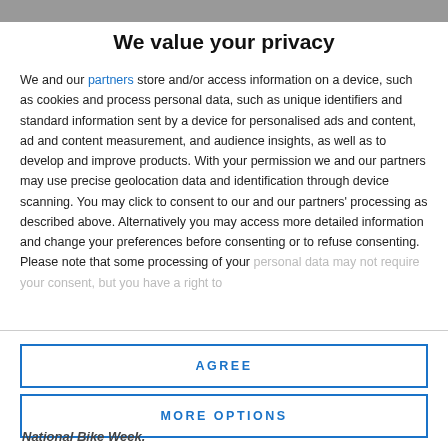We value your privacy
We and our partners store and/or access information on a device, such as cookies and process personal data, such as unique identifiers and standard information sent by a device for personalised ads and content, ad and content measurement, and audience insights, as well as to develop and improve products. With your permission we and our partners may use precise geolocation data and identification through device scanning. You may click to consent to our and our partners' processing as described above. Alternatively you may access more detailed information and change your preferences before consenting or to refuse consenting. Please note that some processing of your personal data may not require your consent, but you have a right to
AGREE
MORE OPTIONS
National Bike Week.